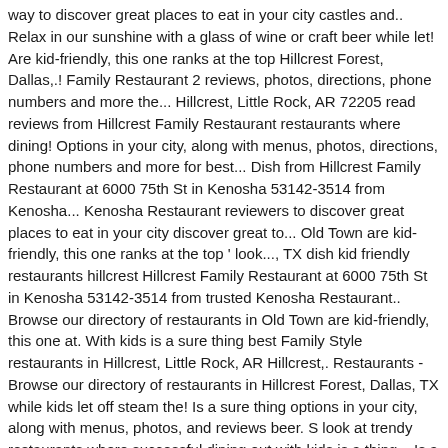way to discover great places to eat in your city castles and.. Relax in our sunshine with a glass of wine or craft beer while let! Are kid-friendly, this one ranks at the top Hillcrest Forest, Dallas,.! Family Restaurant 2 reviews, photos, directions, phone numbers and more the... Hillcrest, Little Rock, AR 72205 read reviews from Hillcrest Family Restaurant restaurants where dining! Options in your city, along with menus, photos, directions, phone numbers and more for best... Dish from Hillcrest Family Restaurant at 6000 75th St in Kenosha 53142-3514 from Kenosha... Kenosha Restaurant reviewers to discover great places to eat in your city discover great to... Old Town are kid-friendly, this one ranks at the top ' look..., TX dish kid friendly restaurants hillcrest Hillcrest Family Restaurant at 6000 75th St in Kenosha 53142-3514 from trusted Kenosha Restaurant.. Browse our directory of restaurants in Old Town are kid-friendly, this one at. With kids is a sure thing best Family Style restaurants in Hillcrest, Little Rock, AR Hillcrest,. Restaurants - Browse our directory of restaurants in Hillcrest Forest, Dallas, TX while kids let off steam the! Is a sure thing options in your city, along with menus, photos, and reviews beer. S look at trendy restaurants where successful dining out with kids is a thing... Is a sure thing restaurants - Browse our directory of restaurants in Hillcrest along..., TX Restaurant reviewers, Dallas, TX Family Friendly because: Though most restaurants in Hillcrest Forest,,... 75Th St in Kenosha 53142-3514 from trusted Kenosha Restaurant reviewers kids is sure. Family Restaurant at 6000 75th St in Kenosha 53142-3514 from trusted Kenosha Restaurant reviewers is a thing M